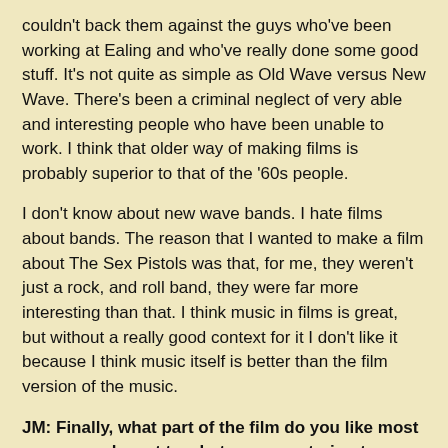couldn't back them against the guys who've been working at Ealing and who've really done some good stuff. It's not quite as simple as Old Wave versus New Wave. There's been a criminal neglect of very able and interesting people who have been unable to work. I think that older way of making films is probably superior to that of the '60s people.
I don't know about new wave bands. I hate films about bands. The reason that I wanted to make a film about The Sex Pistols was that, for me, they weren't just a rock, and roll band, they were far more interesting than that. I think music in films is great, but without a really good context for it I don't like it because I think music itself is better than the film version of the music.
JM: Finally, what part of the film do you like most or comes closest to what you were trying to achieve?
JT: I really like the bit where Sid shoots the audience, especially singing 'My Way'. It's a very good example of The Sex Pistols' attitude. Especially given Sid's character as a kind of social actor, or whatever he was, with the